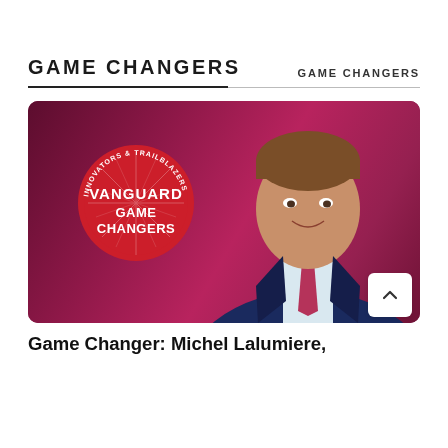GAME CHANGERS
GAME CHANGERS
[Figure (photo): Photo of Michel Lalumiere smiling, wearing a dark suit and blue/pink tie, set against a deep magenta/crimson background. A red circular badge on the left reads 'INNOVATORS & TRAILBLAZERS / VANGUARD / GAME CHANGERS'.]
Game Changer: Michel Lalumiere,